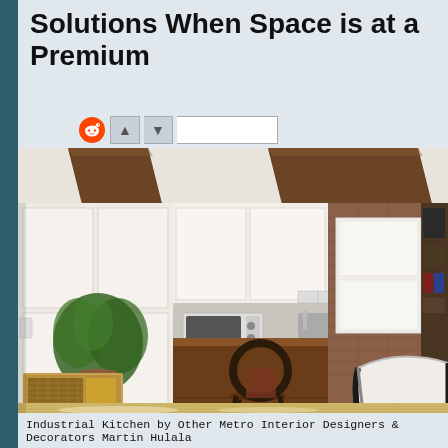Solutions When Space is at a Premium
[Figure (other): Reddit and voting social share buttons/icons]
[Figure (photo): Industrial kitchen interior with white cabinets, wooden ceiling beams, brick wall, mid-century modern furniture including a lounge chair and dining chair, potted plant, and hardwood floors. Sunlight streams across the floor.]
Industrial Kitchen by Other Metro Interior Designers & Decorators Martin Hulala